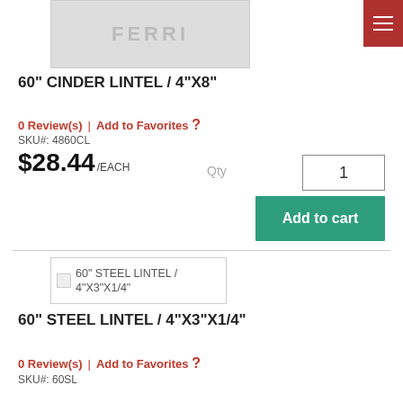[Figure (photo): Product image placeholder with FERRI text watermark, light gray background]
60" CINDER LINTEL / 4"X8"
0 Review(s)  |  Add to Favorites  ?
SKU#: 4860CL
$28.44/EACH
Qty  1
Add to cart
[Figure (photo): Broken image placeholder for 60" STEEL LINTEL / 4"X3"X1/4"]
60" STEEL LINTEL / 4"X3"X1/4"
0 Review(s)  |  Add to Favorites  ?
SKU#: 60SL